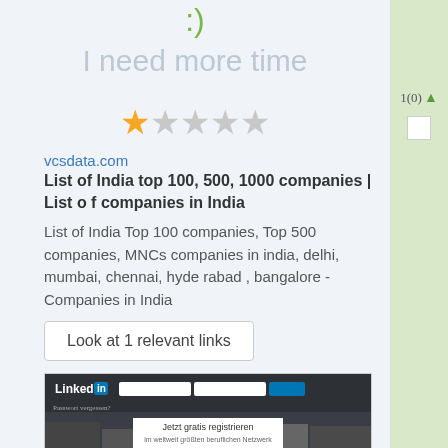[Figure (illustration): Smiley face emoticon ':)' in green color at the top of the main content area]
I need more time
[Figure (other): Star rating showing 1 out of 5 stars - first star filled orange, remaining four stars empty gray]
vcsdata.com
List of India top 100, 500, 1000 companies | List of companies in India
List of India Top 100 companies, Top 500 companies, MNCs companies in india, delhi, mumbai, chennai, hyderabad , bangalore - Companies in India
Look at 1 relevant links
[Figure (screenshot): Screenshot of LinkedIn website with dark header bar showing LinkedIn logo, input fields, and a white registration box 'Jetzt gratis registrieren im weltweit groessten beruflichen Netzwerk' overlaid on a group photo background]